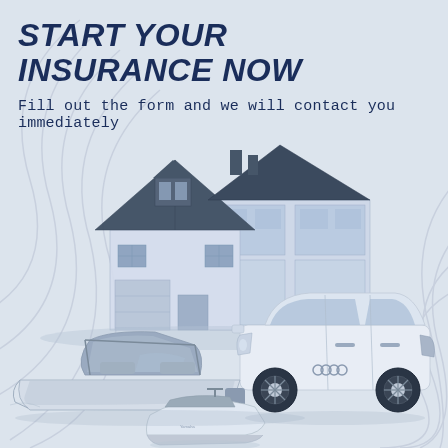START YOUR INSURANCE NOW
Fill out the form and we will contact you immediately
[Figure (illustration): Insurance marketing illustration showing a house, SUV car (Audi), a motorboat, and a jet ski arranged together on a light blue-grey background with decorative curved lines, all rendered in blue-grey tones.]